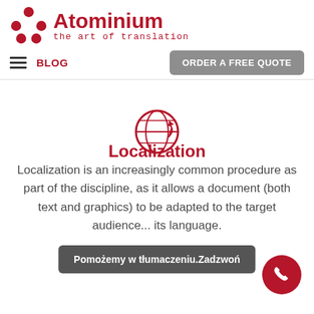[Figure (logo): Atominium logo: red molecule cluster icon with text 'Atominium the art of translation']
BLOG | ORDER A FREE QUOTE
[Figure (illustration): Red globe/world icon with an arrow]
Localization
Localization is an increasingly common procedure as part of the discipline, as it allows a document (both text and graphics) to be adapted to the target audience... its language.
Pomożemy w tłumaczeniu.Zadzwoń